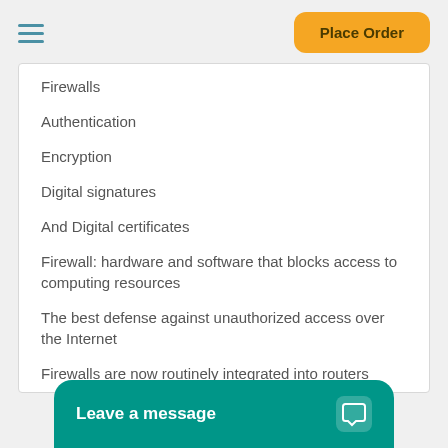Place Order
Firewalls
Authentication
Encryption
Digital signatures
And Digital certificates
Firewall: hardware and software that blocks access to computing resources
The best defense against unauthorized access over the Internet
Firewalls are now routinely integrated into routers
DMZ: demilitarized zo
One end of the netwo